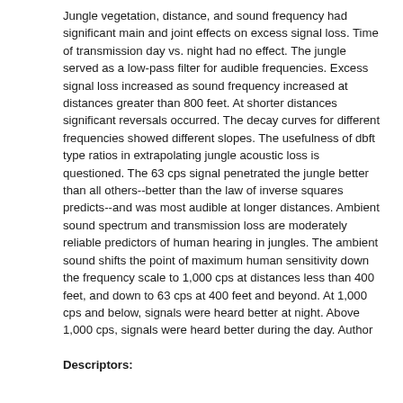Jungle vegetation, distance, and sound frequency had significant main and joint effects on excess signal loss. Time of transmission day vs. night had no effect. The jungle served as a low-pass filter for audible frequencies. Excess signal loss increased as sound frequency increased at distances greater than 800 feet. At shorter distances significant reversals occurred. The decay curves for different frequencies showed different slopes. The usefulness of dbft type ratios in extrapolating jungle acoustic loss is questioned. The 63 cps signal penetrated the jungle better than all others--better than the law of inverse squares predicts--and was most audible at longer distances. Ambient sound spectrum and transmission loss are moderately reliable predictors of human hearing in jungles. The ambient sound shifts the point of maximum human sensitivity down the frequency scale to 1,000 cps at distances less than 400 feet, and down to 63 cps at 400 feet and beyond. At 1,000 cps and below, signals were heard better at night. Above 1,000 cps, signals were heard better during the day. Author
Descriptors: